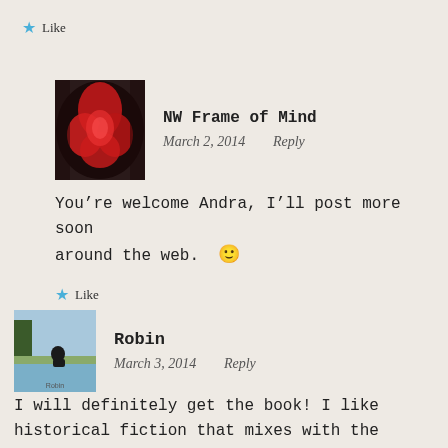Like
NW Frame of Mind
March 2, 2014  Reply
You’re welcome Andra, I’ll post more soon around the web. 🙂
Like
Robin
March 3, 2014  Reply
I will definitely get the book! I like historical fiction that mixes with the